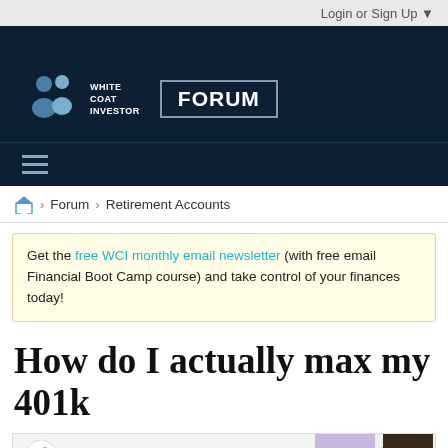Login or Sign Up ▼
[Figure (logo): White Coat Investor Forum logo — dark navy header with person silhouette icon, WHITE COAT INVESTOR text, and FORUM badge]
≡ (hamburger menu icon)
Home > Forum > Retirement Accounts
Get the free WCI monthly email newsletter (with free email Financial Boot Camp course) and take control of your finances today!
How do I actually max my 401k
[Figure (photo): Partial advertisement or thumbnail showing InCrowd and White Coat Investor logos on the left, and a woman's face partially visible on the right against a purple/white background]